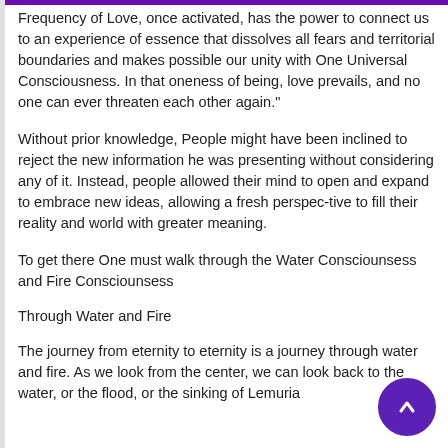Frequency of Love, once activated, has the power to connect us to an experience of essence that dissolves all fears and territorial boundaries and makes possible our unity with One Universal Consciousness. In that oneness of being, love prevails, and no one can ever threaten each other again."
Without prior knowledge, People might have been inclined to reject the new information he was presenting without considering any of it. Instead, people allowed their mind to open and expand to embrace new ideas, allowing a fresh perspec-tive to fill their reality and world with greater meaning.
To get there One must walk through the Water Consciounsess and Fire Consciounsess
Through Water and Fire
The journey from eternity to eternity is a journey through water and fire. As we look from the center, we can look back to the water, or the flood, or the sinking of Lemuria